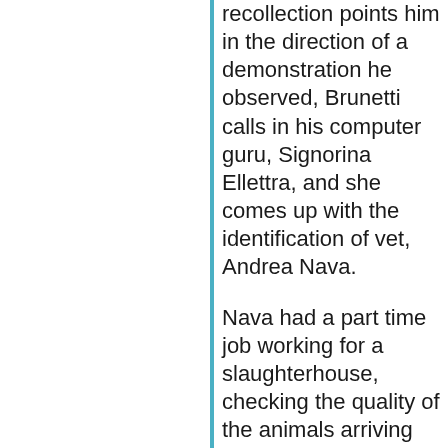recollection points him in the direction of a demonstration he observed, Brunetti calls in his computer guru, Signorina Ellettra, and she comes up with the identification of vet, Andrea Nava.
Nava had a part time job working for a slaughterhouse, checking the quality of the animals arriving for slaughter. This is the clue that Brunetti needs and he is drawn in to a world of corruption.